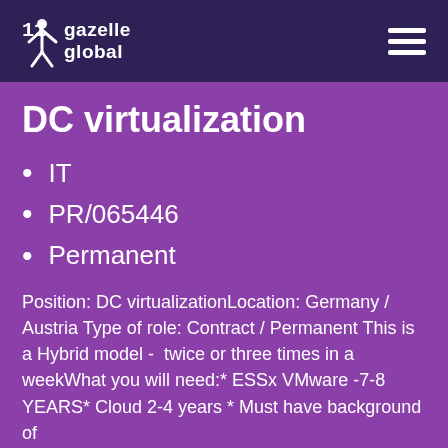gazelle global
DC virtualization
IT
PR/065446
Permanent
Position: DC virtualizationLocation: Germany / Austria Type of role: Contract / Permanent This is a Hybrid model - twice or three times in a weekWhat you will need:* ESSx VMware -7-8 YEARS* Cloud 2-4 years * Must have background of...